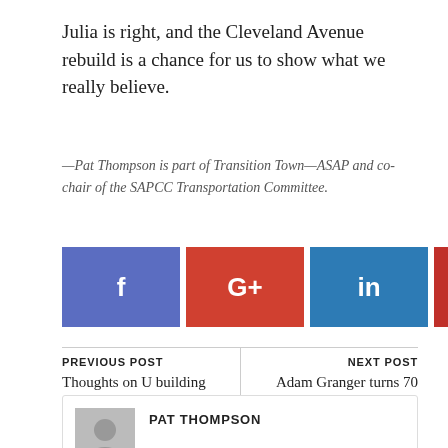Julia is right, and the Cleveland Avenue rebuild is a chance for us to show what we really believe.
—Pat Thompson is part of Transition Town—ASAP and co-chair of the SAPCC Transportation Committee.
[Figure (other): Social sharing buttons: Facebook (blue-purple), Google+ (red), LinkedIn (blue), Pinterest (red), StumbleUpon (orange-red), Twitter (light blue)]
PREVIOUS POST
Thoughts on U building name changes
NEXT POST
Adam Granger turns 70 and ...boy, oh, boy!!
PAT THOMPSON